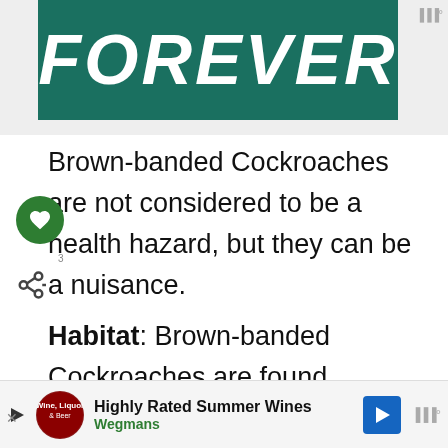[Figure (other): Partial banner image showing word FOREVER in large white italic bold text on dark teal/green background]
Brown-banded Cockroaches are not considered to be a health hazard, but they can be a nuisance.
Habitat: Brown-banded Cockroaches are found throughout the United States.
If you have these cockroaches in your home, you may see them during the day as they prefer to hide in dark, warm places. They are often
[Figure (other): Bottom advertisement banner: Highly Rated Summer Wines - Wegmans]
Highly Rated Summer Wines
Wegmans